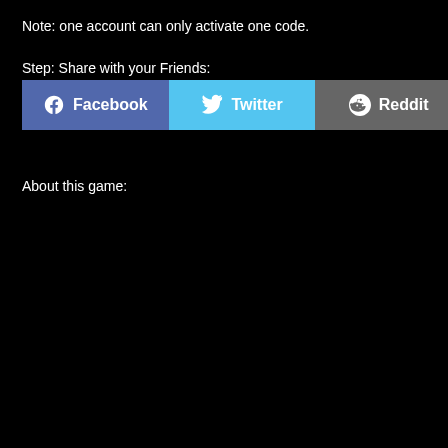Note: one account can only activate one code.
Step: Share with your Friends:
[Figure (screenshot): Three social sharing buttons: Facebook (blue/purple), Twitter (light blue), Reddit (gray), each with icon and label text]
About this game: